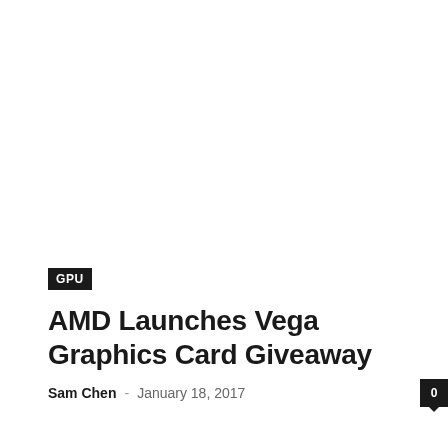GPU
AMD Launches Vega Graphics Card Giveaway
Sam Chen  -  January 18, 2017